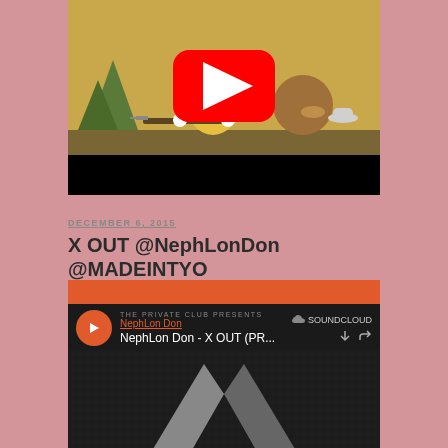[Figure (screenshot): YouTube video embed showing an animated cartoon scene with a banana character holding a rifle and a round brown character, with a YouTube play button overlay]
DECEMBER 6, 2015
X OUT @NephLonDon @MADEINTYO
[Figure (screenshot): SoundCloud embed player showing 'THE PRIVATE CLUB PRESENTS NephLon Don - X OUT (PR...' with a play button and an X logo artwork]